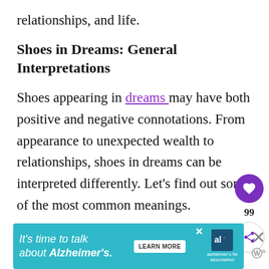relationships, and life.
Shoes in Dreams: General Interpretations
Shoes appearing in dreams may have both positive and negative connotations. From appearance to unexpected wealth to relationships, shoes in dreams can be interpreted differently. Let’s find out some of the most common meanings.
[Figure (other): Floating action buttons: heart/like button (purple circle with heart icon) with count 99, and share button (white circle with share icon)]
[Figure (other): Advertisement banner for Alzheimer's Association: 'It’s time to talk about Alzheimer’s.' with LEARN MORE button and alzheimer's association logo, with close X button to the right]